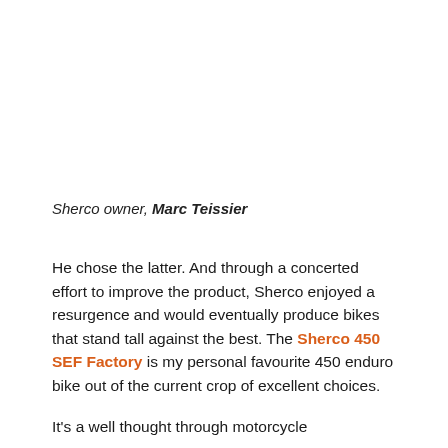Sherco owner, Marc Teissier
He chose the latter. And through a concerted effort to improve the product, Sherco enjoyed a resurgence and would eventually produce bikes that stand tall against the best. The Sherco 450 SEF Factory is my personal favourite 450 enduro bike out of the current crop of excellent choices.
It's a well thought through motorcycle